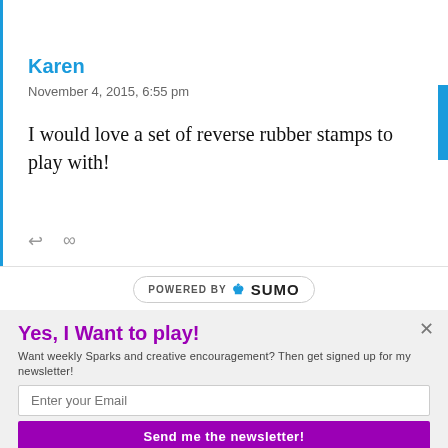Karen
November 4, 2015, 6:55 pm
I would love a set of reverse rubber stamps to play with!
[Figure (logo): POWERED BY SUMO badge/logo]
Yes, I Want to play!
Want weekly Sparks and creative encouragement? Then get signed up for my newsletter!
Enter your Email
Send me the newsletter!
Yes, I would like you to send me a newsletter.